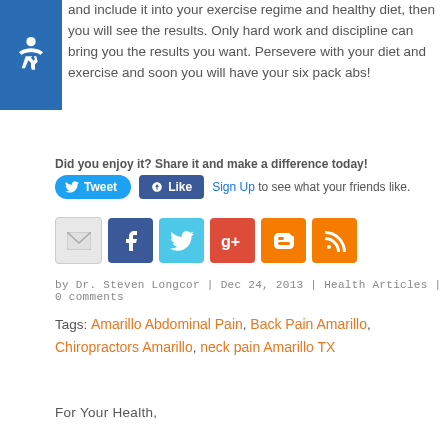and include it into your exercise regime and healthy diet, then you will see the results. Only hard work and discipline can bring you the results you want. Persevere with your diet and exercise and soon you will have your six pack abs!
Did you enjoy it? Share it and make a difference today!
[Figure (other): Tweet and Like social sharing buttons with Sign Up link]
[Figure (other): Row of social media icons: email, Facebook, Twitter, Google+, Blogger, RSS]
by Dr. Steven Longcor | Dec 24, 2013 | Health Articles | 0 comments
Tags: Amarillo Abdominal Pain, Back Pain Amarillo, Chiropractors Amarillo, neck pain Amarillo TX
For Your Health,